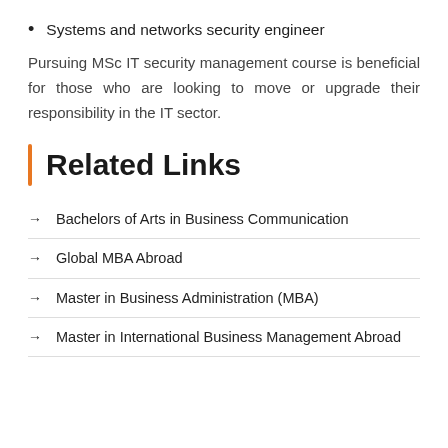Systems and networks security engineer
Pursuing MSc IT security management course is beneficial for those who are looking to move or upgrade their responsibility in the IT sector.
Related Links
Bachelors of Arts in Business Communication
Global MBA Abroad
Master in Business Administration (MBA)
Master in International Business Management Abroad